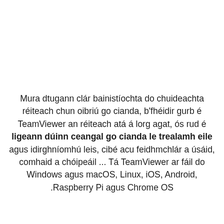Mura dtugann clár bainistíochta do chuideachta réiteach chun oibriú go cianda, b'fhéidir gurb é TeamViewer an réiteach atá á lorg agat, ós rud é ligeann dúinn ceangal go cianda le trealamh eile agus idirghníomhú leis, cibé acu feidhmchlár a úsáid, comhaid a chóipeáil ... Tá TeamViewer ar fáil do Windows agus macOS, Linux, iOS, Android, .Raspberry Pi agus Chrome OS